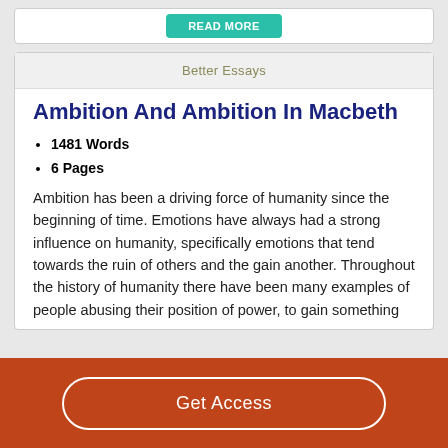Better Essays
Ambition And Ambition In Macbeth
1481 Words
6 Pages
Ambition has been a driving force of humanity since the beginning of time. Emotions have always had a strong influence on humanity, specifically emotions that tend towards the ruin of others and the gain another. Throughout the history of humanity there have been many examples of people abusing their position of power, to gain something they...
Get Access